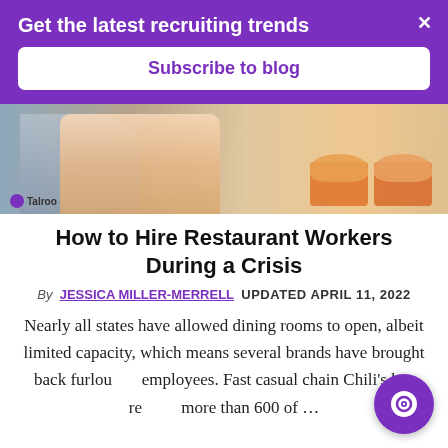Get the latest recruiting trends
Subscribe to blog
[Figure (photo): Photo of a restaurant worker (woman in pink top) holding a tray with burgers in checkered baskets, with a Talroo logo watermark in the bottom left]
How to Hire Restaurant Workers During a Crisis
By JESSICA MILLER-MERRELL UPDATED APRIL 11, 2022
Nearly all states have allowed dining rooms to open, albeit limited capacity, which means several brands have brought back furloughed employees. Fast casual chain Chili's has re... more than 600 of ...